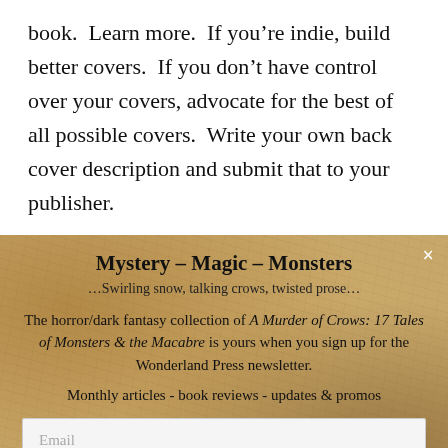book. Learn more. If you’re indie, build better covers. If you don’t have control over your covers, advocate for the best of all possible covers. Write your own back cover description and submit that to your publisher.
Mystery – Magic – Monsters
…Swirling snow, talking crows, twisted prose…
The horror/dark fantasy collection of A Murder of Crows: 17 Tales of Monsters & the Macabre is yours when you sign up for the Wonderland Press newsletter.
Monthly articles - book reviews - updates & promos
Email
SUBSCRIBE